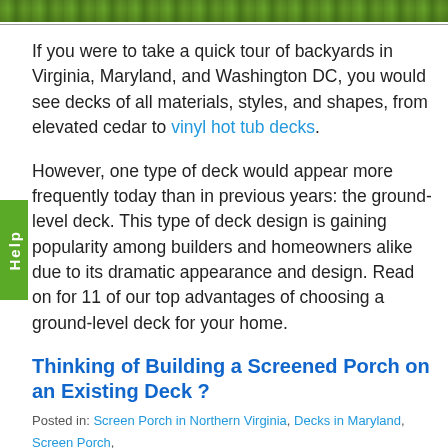[Figure (photo): A strip of green grass/lawn viewed from above, serving as a decorative header image.]
If you were to take a quick tour of backyards in Virginia, Maryland, and Washington DC, you would see decks of all materials, styles, and shapes, from elevated cedar to vinyl hot tub decks.
However, one type of deck would appear more frequently today than in previous years: the ground-level deck. This type of deck design is gaining popularity among builders and homeowners alike due to its dramatic appearance and design. Read on for 11 of our top advantages of choosing a ground-level deck for your home.
Thinking of Building a Screened Porch on an Existing Deck ?
Posted in: Screen Porch in Northern Virginia, Decks in Maryland, Screen Porch, Decks and Patios, Screen Porch Tips, Screen Porch Questions, Decks in Virginia, Deck Contratcors, Deck Building Tips, Deck Tips, Deck Design, Screen Porch in